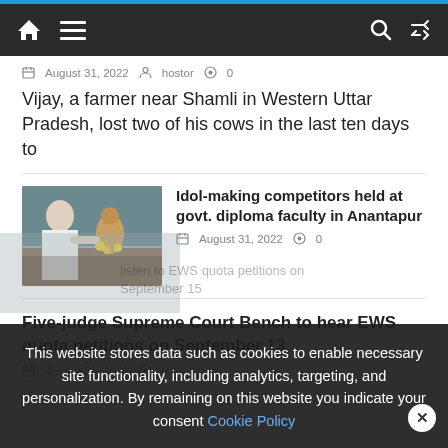Navigation bar with home, menu, search, and shuffle icons
August 31, 2022  hostor  0
Vijay, a farmer near Shamli in Western Uttar Pradesh, lost two of his cows in the last ten days to
[Figure (photo): Photo of a person working on an idol sculpture with yellow flowers]
Idol-making competitors held at govt. diploma faculty in Anantapur
August 31, 2022  0
Five-judge Supreme Court Bench to hear EWS quota petitions on September 13
August 31, 2022  0
This website stores data such as cookies to enable necessary site functionality, including analytics, targeting, and personalization. By remaining on this website you indicate your consent Cookie Policy